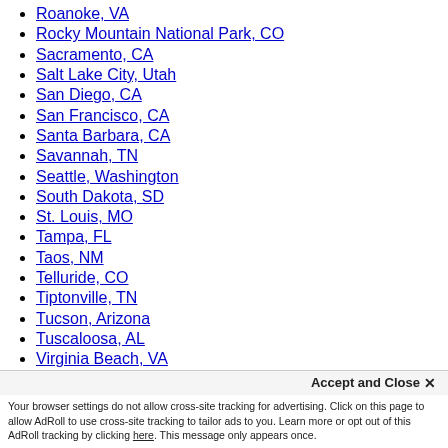Roanoke, VA
Rocky Mountain National Park, CO
Sacramento, CA
Salt Lake City, Utah
San Diego, CA
San Francisco, CA
Santa Barbara, CA
Savannah, TN
Seattle, Washington
South Dakota, SD
St. Louis, MO
Tampa, FL
Taos, NM
Telluride, CO
Tiptonville, TN
Tucson, Arizona
Tuscaloosa, AL
Virginia Beach, VA
Wakefield, RI
Washington, DC
West Virginia, WV
Winston-Salem, NC
Accept and Close ×
Your browser settings do not allow cross-site tracking for advertising. Click on this page to allow AdRoll to use cross-site tracking to tailor ads to you. Learn more or opt out of this AdRoll tracking by clicking here. This message only appears once.